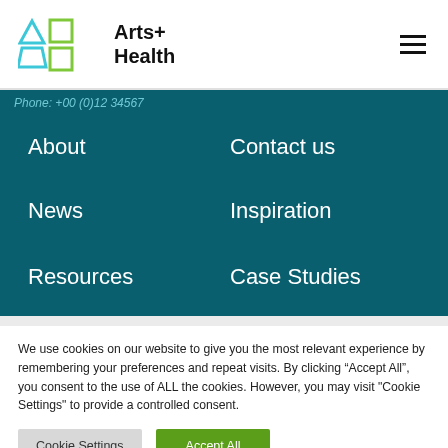Arts+ Health
About
Contact us
News
Inspiration
Resources
Case Studies
We use cookies on our website to give you the most relevant experience by remembering your preferences and repeat visits. By clicking “Accept All”, you consent to the use of ALL the cookies. However, you may visit "Cookie Settings" to provide a controlled consent.